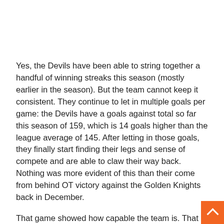Yes, the Devils have been able to string together a handful of winning streaks this season (mostly earlier in the season). But the team cannot keep it consistent. They continue to let in multiple goals per game: the Devils have a goals against total so far this season of 159, which is 14 goals higher than the league average of 145. After letting in those goals, they finally start finding their legs and sense of compete and are able to claw their way back. Nothing was more evident of this than their come from behind OT victory against the Golden Knights back in December.
That game showed how capable the team is. That game